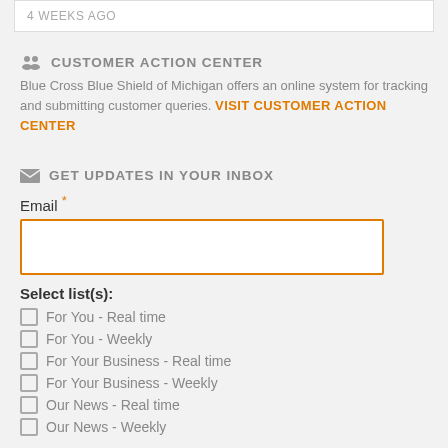4 WEEKS AGO
CUSTOMER ACTION CENTER
Blue Cross Blue Shield of Michigan offers an online system for tracking and submitting customer queries. VISIT CUSTOMER ACTION CENTER
GET UPDATES IN YOUR INBOX
Email *
Select list(s):
For You - Real time
For You - Weekly
For Your Business - Real time
For Your Business - Weekly
Our News - Real time
Our News - Weekly